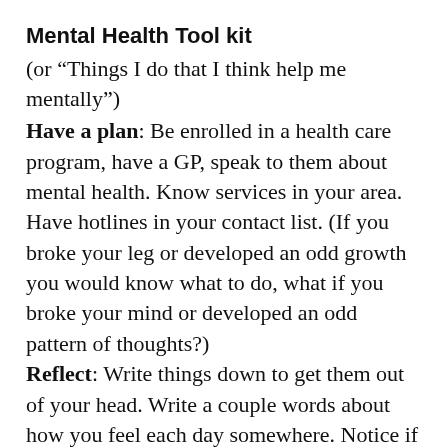Mental Health Tool kit
(or “Things I do that I think help me mentally”)
Have a plan: Be enrolled in a health care program, have a GP, speak to them about mental health. Know services in your area. Have hotlines in your contact list. (If you broke your leg or developed an odd growth you would know what to do, what if you broke your mind or developed an odd pattern of thoughts?)
Reflect: Write things down to get them out of your head. Write a couple words about how you feel each day somewhere. Notice if something keeps coming back. Even just putting information somewhere else helps me relax that I won’t forget it, so I can let it go even briefly.
Exercise: Match the mental stress with physical stress, release endorphins. “Get out of your mind by getting into your body”. Do something that makes you sweat for 10 minutes. Endorphins make you feel better. Matching the physical stress to mental stress has been clinically...